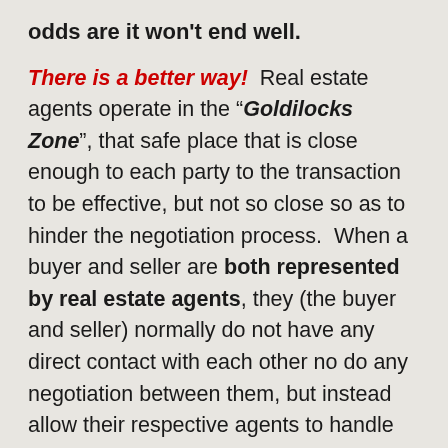odds are it won't end well.
There is a better way!  Real estate agents operate in the "Goldilocks Zone", that safe place that is close enough to each party to the transaction to be effective, but not so close so as to hinder the negotiation process.  When a buyer and seller are both represented by real estate agents, they (the buyer and seller) normally do not have any direct contact with each other no do any negotiation between them, but instead allow their respective agents to handle those things.  This keeps the emotion out of the picture and also filters what is said through a professional that will filter the message removing anything that wouldn't be in their clients benefit.  An experienced agent, without an emotional attachment to the transation, will be able to think and act much more objectively, than their client typically and their experience will help them know when and how is the best manner